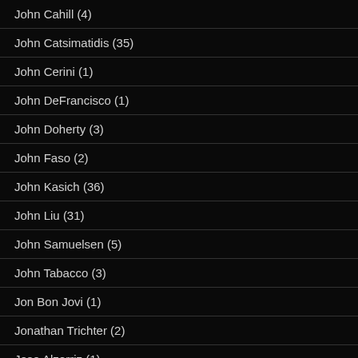John Cahill (4)
John Catsimatidis (35)
John Cerini (1)
John DeFrancisco (1)
John Doherty (3)
John Faso (2)
John Kasich (36)
John Liu (31)
John Samuelsen (5)
John Tabacco (3)
Jon Bon Jovi (1)
Jonathan Trichter (2)
Jose Alzorriz (1)